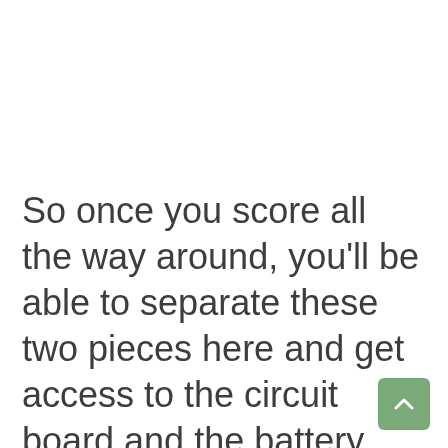So once you score all the way around, you'll be able to separate these two pieces here and get access to the circuit board and the battery that we'll need to replace. Now, the battery that you need here is a VL 2020. This is a rechargeable battery. Now, all you do is the...